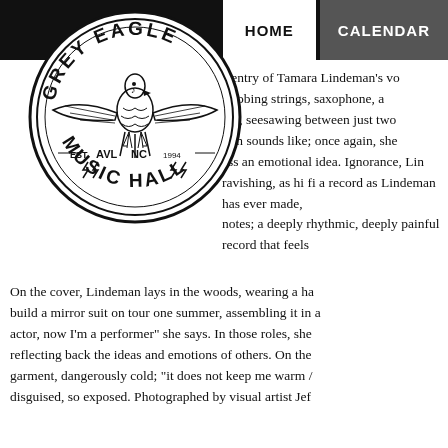HOME  CALENDAR
[Figure (logo): Grey Eagle Music Hall circular logo with eagle spreading wings, text reads GREY EAGLE around top, MUSIC HALL around bottom, AVL NC EST 1999]
e entry of Tamara Lindeman's vo stabbing strings, saxophone, a ion, seesawing between just two tion sounds like; once again, she ess an emotional idea. Ignorance, Lin ravishing, as hi fi a record as Lindeman has ever made, notes; a deeply rhythmic, deeply painful record that feels
On the cover, Lindeman lays in the woods, wearing a ha build a mirror suit on tour one summer, assembling it in a actor, now I'm a performer" she says. In those roles, she reflecting back the ideas and emotions of others. On the garment, dangerously cold; "it does not keep me warm / disguised, so exposed. Photographed by visual artist Jef